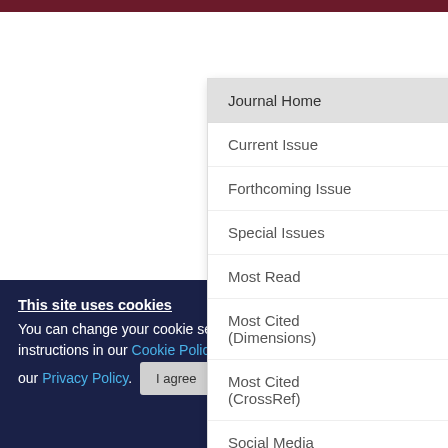Journal Home / Current Issue / Forthcoming Issue / Special Issues / Most Read / Most Cited (Dimensions) / Most Cited (CrossRef) / Social Media
Bioinf... and pa...
Authors:
View Affil...
Published
Pages: 36...
Copyright
This site uses cookies
You can change your cookie settings at any time by following the instructions in our Cookie Policy. To find out more, you may read our Privacy Policy.